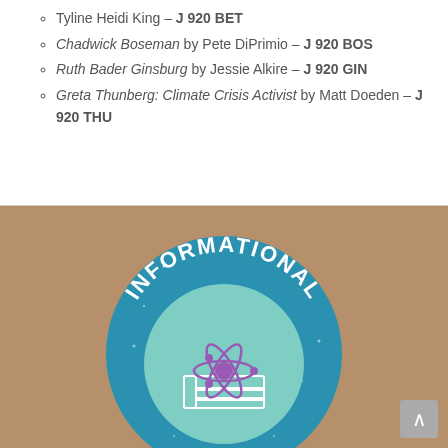Tyline Heidi King – J 920 BET
Chadwick Boseman by Pete DiPrimio – J 920 BOS
Ruth Bader Ginsburg by Jessie Alkire – J 920 GIN
Greta Thunberg: Climate Crisis Activist by Matt Doeden – J 920 THU
[Figure (illustration): A circular blue glittery badge/logo with the word INFORMATIONAL in white bold arched text around the top, and in the center a teal circle containing a white line-art illustration of stacked books with an atom/science symbol (purple) overlaid on top.]